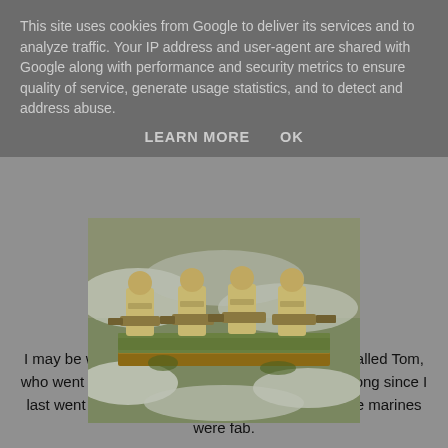This site uses cookies from Google to deliver its services and to analyze traffic. Your IP address and user-agent are shared with Google along with performance and security metrics to ensure quality of service, generate usage statistics, and to detect and address abuse.
LEARN MORE    OK
[Figure (photo): Painted Warhammer-style plague marine miniatures on a gaming board, showing five large grotesque figures with heavy weapons, based on green grass and white snow terrain.]
I may be wrong but think this was done by a guy called Tom, who went to Lost Boys Gaming Club. It's been so long since I last went I may have got it mixed up but the plague marines were fab.